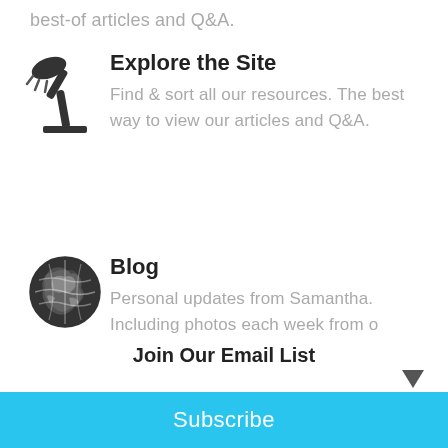best-of articles and Q&A.
[Figure (illustration): Desk lamp icon in dark gray/black]
Explore the Site
Find & sort all our resources. The best way to view our articles and Q&A.
[Figure (illustration): Globe/world icon in dark gray/black]
Blog
Personal updates from Samantha. Including photos each week from o
Join Our Email List
Your email address
Subscribe